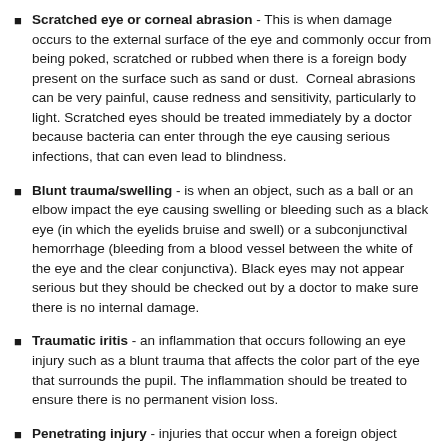Scratched eye or corneal abrasion - This is when damage occurs to the external surface of the eye and commonly occur from being poked, scratched or rubbed when there is a foreign body present on the surface such as sand or dust. Corneal abrasions can be very painful, cause redness and sensitivity, particularly to light. Scratched eyes should be treated immediately by a doctor because bacteria can enter through the eye causing serious infections, that can even lead to blindness.
Blunt trauma/swelling - is when an object, such as a ball or an elbow impact the eye causing swelling or bleeding such as a black eye (in which the eyelids bruise and swell) or a subconjunctival hemorrhage (bleeding from a blood vessel between the white of the eye and the clear conjunctiva). Black eyes may not appear serious but they should be checked out by a doctor to make sure there is no internal damage.
Traumatic iritis - an inflammation that occurs following an eye injury such as a blunt trauma that affects the color part of the eye that surrounds the pupil. The inflammation should be treated to ensure there is no permanent vision loss.
Penetrating injury - injuries that occur when a foreign object